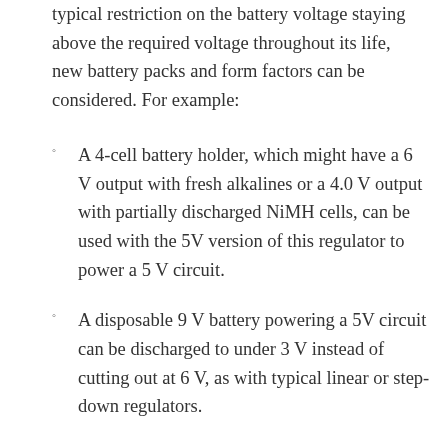typical restriction on the battery voltage staying above the required voltage throughout its life, new battery packs and form factors can be considered. For example:
A 4-cell battery holder, which might have a 6 V output with fresh alkalines or a 4.0 V output with partially discharged NiMH cells, can be used with the 5V version of this regulator to power a 5 V circuit.
A disposable 9 V battery powering a 5V circuit can be discharged to under 3 V instead of cutting out at 6 V, as with typical linear or step-down regulators.
The 6V version of this regulator can be used to enable a wide range of power supply options for a hobby servo project.